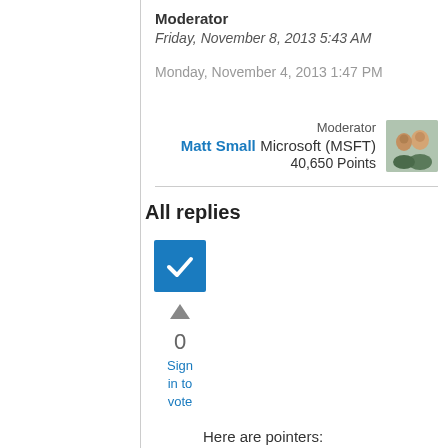Moderator
Friday, November 8, 2013 5:43 AM
Monday, November 4, 2013 1:47 PM
Moderator
Matt Small Microsoft (MSFT) 40,650 Points
[Figure (photo): Avatar photo of Matt Small, showing two people]
All replies
[Figure (other): Blue checkbox checkmark icon indicating answered/accepted reply]
0
Sign in to vote
Here are pointers:
1) If you have a better that...